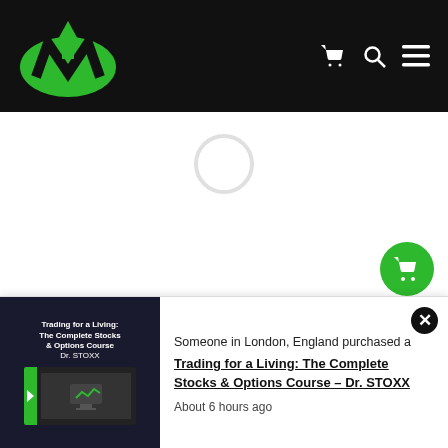Navigation bar with logo and icons
[Figure (screenshot): White loading spinner on white background area]
[Figure (infographic): Green circular cart button floating bottom right]
[Figure (screenshot): Notification popup: someone in London, England purchased Trading for a Living: The Complete Stocks & Options Course – Dr. STOXX about 6 hours ago, with product thumbnail on left]